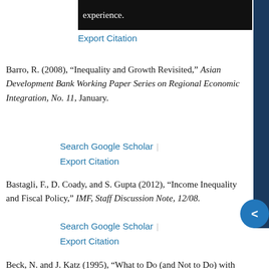experience.
Export Citation
Barro, R. (2008), “Inequality and Growth Revisited,” Asian Development Bank Working Paper Series on Regional Economic Integration, No. 11, January.
Search Google Scholar | Export Citation
Bastagli, F., D. Coady, and S. Gupta (2012), “Income Inequality and Fiscal Policy,” IMF, Staff Discussion Note, 12/08.
Search Google Scholar | Export Citation
Beck, N. and J. Katz (1995), “What to Do (and Not to Do) with Time-Series Cross-Section Data, American Political Science Review, 89 (3): 634–647.
Search Google Scholar | Export Citation